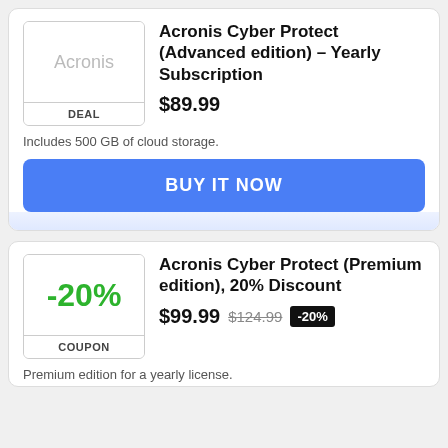Acronis Cyber Protect (Advanced edition) – Yearly Subscription
$89.99
DEAL
Includes 500 GB of cloud storage.
BUY IT NOW
Acronis Cyber Protect (Premium edition), 20% Discount
$99.99  $124.99  -20%
COUPON
Premium edition for a yearly license.